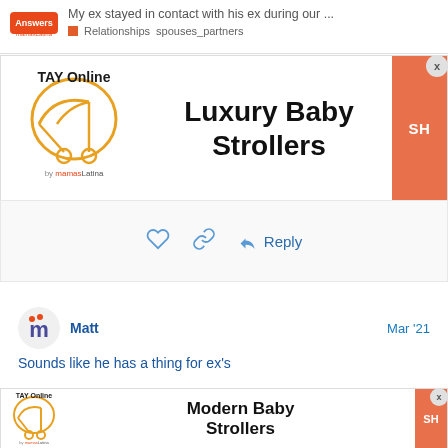My ex stayed in contact with his ex during our ... Relationships spouses_partners
[Figure (screenshot): TAY Online by mamas advertisement banner for Luxury Baby Strollers with orange button]
[Figure (screenshot): Action icons: heart, link, reply button]
Matt   Mar '21
Sounds like he has a thing for ex's
[Figure (screenshot): TAY Online by mamas advertisement banner for Modern Baby Strollers with orange button]